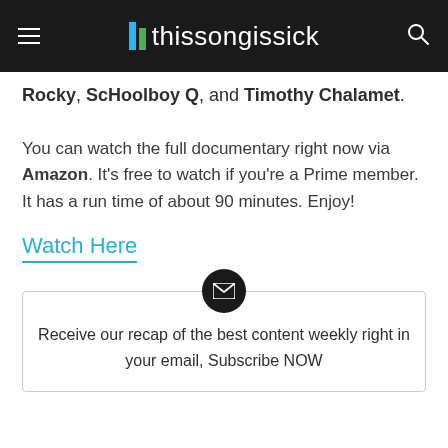thissongissick
Rocky, ScHoolboy Q, and Timothy Chalamet.
You can watch the full documentary right now via Amazon. It's free to watch if you're a Prime member. It has a run time of about 90 minutes. Enjoy!
Watch Here
Receive our recap of the best content weekly right in your email, Subscribe NOW